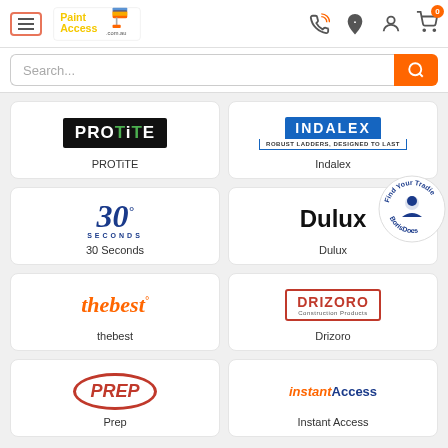[Figure (screenshot): PaintAccess.com.au website navigation bar with hamburger menu, logo, phone, location, account, and cart icons]
[Figure (screenshot): Search bar with orange search button]
[Figure (logo): PROTiTE brand logo in black with green i]
PROTiTE
[Figure (logo): Indalex Robust Ladders Designed to Last logo in blue]
Indalex
[Figure (logo): 30 Seconds logo in dark blue italic]
30 Seconds
[Figure (logo): Dulux brand name in bold black text]
Dulux
[Figure (logo): thebest logo in orange italic]
thebest
[Figure (logo): Drizoro Construction Products logo in red]
Drizoro
[Figure (logo): PREP brand logo in red oval]
Prep
[Figure (logo): instantAccess logo in blue and orange italic]
Instant Access